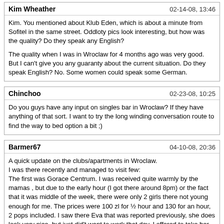Kim Wheather | 02-14-08, 13:46
Kim. You mentioned about Klub Eden, which is about a minute from Sofitel in the same street. Oddloty pics look interesting, but how was the quality? Do they speak any English?

The quality when I was in Wroclaw for 4 months ago was very good. But I can't give you any guaranty about the current situation. Do they speak English? No. Some women could speak some German.
Chinchoo | 02-23-08, 10:25
Do you guys have any input on singles bar in Wroclaw? If they have anything of that sort. I want to try the long winding conversation route to find the way to bed option a bit ;)
Barmer67 | 04-10-08, 20:36
A quick update on the clubs/apartments in Wroclaw.
I was there recently and managed to visit few:
The first was Gorace Centrum. I was received quite warmly by the mamas , but due to the early hour (I got there around 8pm) or the fact that it was middle of the week, there were only 2 girls there not young enough for me. The prices were 100 zl for ½ hour and 130 for an hour, 2 pops included. I saw there Eva that was reported previously, she does look very nice, but just did't want to work that day. I offered to take her for just ½ hour quickie but she refused saying she was too tired. They promised more girls are about to come at 9pm, but I didn't wait.

From there I went to Klub Eden. It was really hard to find. Turns out the entrance is actually on Kielbasnicza st. and not Mikolaja st. I went up to apt #2 only to find out there 2 quite old (at least for me) and fat women. The prices were the cheapest but I got out pretty quickly.

I then got quite frustrated and planned to return to the hotel, but a taxi driver convinced me he can take me to 2 much better places not far away. So I